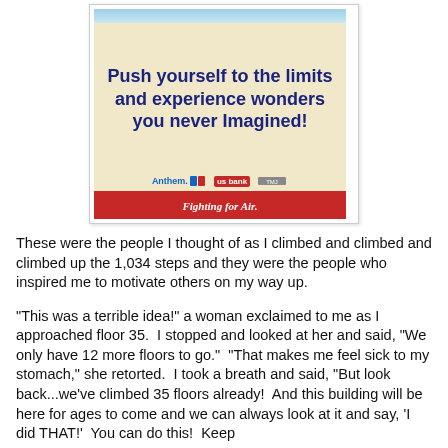[Figure (photo): Photo of a motivational sign reading 'Push yourself to the limits and experience wonders you never Imagined!' with Anthem Blue Cross Blue Shield, US Bank, and other sponsor logos, and a red bar at the bottom reading 'Fighting for Air.']
These were the people I thought of as I climbed and climbed and climbed up the 1,034 steps and they were the people who inspired me to motivate others on my way up.
"This was a terrible idea!" a woman exclaimed to me as I approached floor 35.  I stopped and looked at her and said, "We only have 12 more floors to go."  "That makes me feel sick to my stomach," she retorted.  I took a breath and said, "But look back...we've climbed 35 floors already!  And this building will be here for ages to come and we can always look at it and say, 'I did THAT!'  You can do this!  Keep